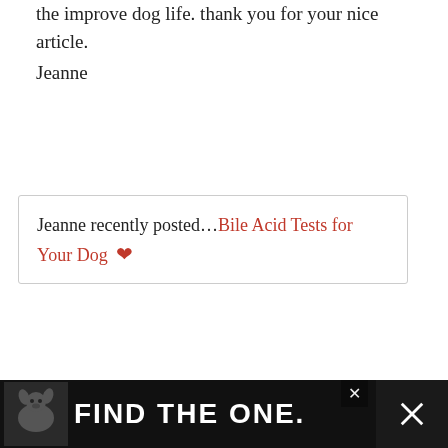the improve dog life. thank you for your nice article.
Jeanne
Jeanne recently posted...Bile Acid Tests for Your Dog
Reply
George Showman on April 2, 2019 at 8:37 am
So important, thank you for sharing this post it’s very crucial. Keep going
[Figure (photo): Dog photo in advertisement banner]
FIND THE ONE.